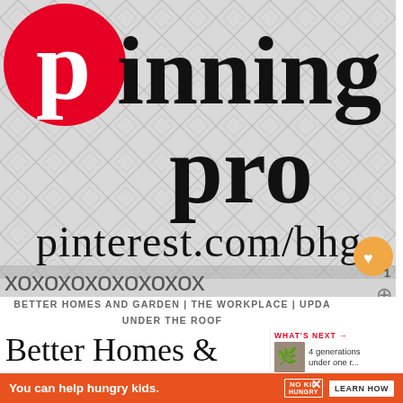[Figure (screenshot): Pinterest 'Pinning Pro' promotional card with Pinterest logo, text 'pinning pro', URL 'pinterest.com/bhg', decorative diamond pattern background, and wavy border pattern at bottom]
BETTER HOMES AND GARDEN | THE WORKPLACE | UPDA UNDER THE ROOF
Better Homes & Garden pinning
[Figure (infographic): What's Next panel showing thumbnail image and text '4 generations under one r...']
[Figure (infographic): Advertisement banner: 'You can help hungry kids.' with No Kid Hungry logo and LEARN HOW button]